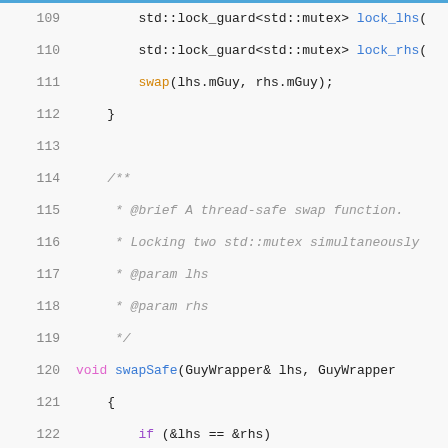[Figure (screenshot): Source code listing showing C++ code lines 109-129 with syntax highlighting. Lines 109-112 show lock_guard usage and swap call. Lines 114-119 show a Doxygen comment block. Lines 120-129 show the swapSafe function definition with mutex locking logic and inline comments.]